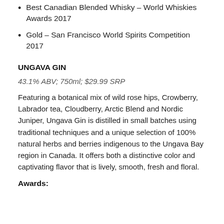Best Canadian Blended Whisky – World Whiskies Awards 2017
Gold – San Francisco World Spirits Competition 2017
UNGAVA GIN
43.1% ABV;  750ml;  $29.99 SRP
Featuring a botanical mix of wild rose hips, Crowberry, Labrador tea, Cloudberry, Arctic Blend and Nordic Juniper, Ungava Gin is distilled in small batches using traditional techniques and a unique selection of 100% natural herbs and berries indigenous to the Ungava Bay region in Canada. It offers both a distinctive color and captivating flavor that is lively, smooth, fresh and floral.
Awards: